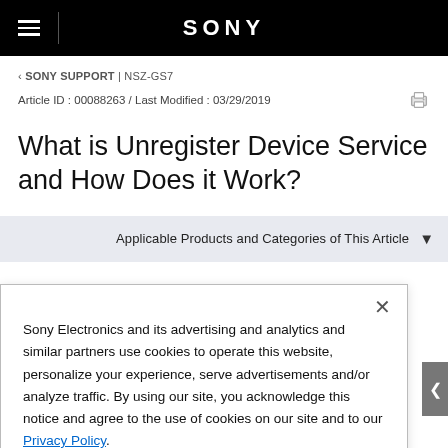SONY
‹ SONY SUPPORT | NSZ-GS7
Article ID : 00088263 / Last Modified : 03/29/2019
What is Unregister Device Service and How Does it Work?
Applicable Products and Categories of This Article
Sony Electronics and its advertising and analytics and similar partners use cookies to operate this website, personalize your experience, serve advertisements and/or analyze traffic. By using our site, you acknowledge this notice and agree to the use of cookies on our site and to our Privacy Policy.